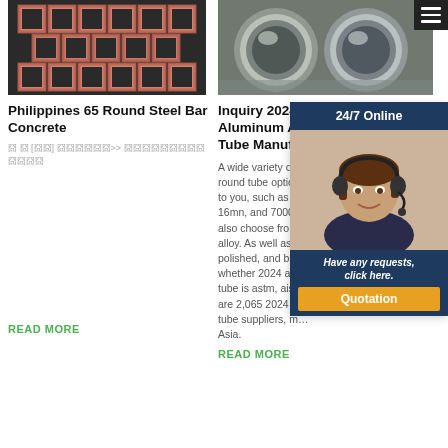[Figure (photo): Stacked pink/terracotta square hollow steel bar sections]
[Figure (photo): Silver aluminum alloy round tubes/pipes close-up]
Philippines 65 Round Steel Bar Concrete
Inquiry 2024 T3 Aluminum Alloy Round Tube Manufacturers...
囧 囧 [囧囧] 囧囧囧囧囧囧>> 囧囧囧囧囧囧囧囧囧囧囧囧囧
A wide variety of round tube optio… to you, such as 6… 16mn, and 7000… also choose from alloy. As well as polished, and br… whether 2024 al… tube is astm, ais… are 2,065 2024 a… tube suppliers, m… Asia.
READ MORE
READ MORE
[Figure (infographic): 24/7 Online chat widget with female customer service agent avatar, 'Have any requests, click here.' text, and Quotation button]